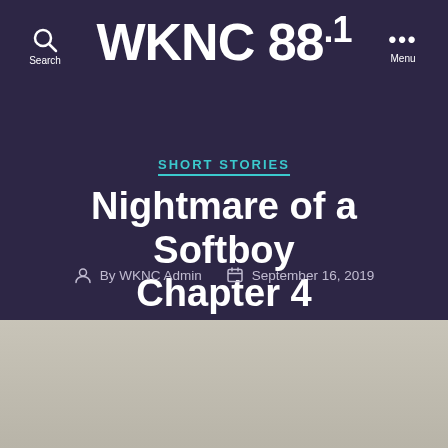WKNC 88.1
SHORT STORIES
Nightmare of a Softboy Chapter 4
By WKNC Admin  September 16, 2019